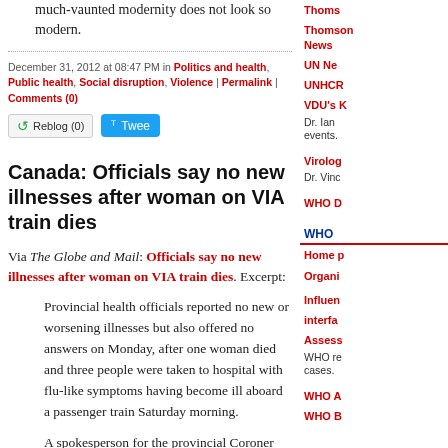much-vaunted modernity does not look so modern.
December 31, 2012 at 08:47 PM in Politics and health, Public health, Social disruption, Violence | Permalink | Comments (0)
Reblog (0)  Tweet
Canada: Officials say no new illnesses after woman on VIA train dies
Via The Globe and Mail: Officials say no new illnesses after woman on VIA train dies. Excerpt:
Provincial health officials reported no new or worsening illnesses but also offered no answers on Monday, after one woman died and three people were taken to hospital with flu-like symptoms having become ill aboard a passenger train Saturday morning.
A spokesperson for the provincial Coroner told the Globe and Mail a post-mortem has been completed on the deceased passenger, whose name has yet to be released, but no cause of death has been determined, and test samples
Thoms
Thomson News
UN Ne
UNHCR
VDU's K
Dr. Ian events.
Virolog
Dr. Vinc
WHO D
WHO
Home p Organi
Influen interfa Assess
WHO re cases.
WHO A
WHO B